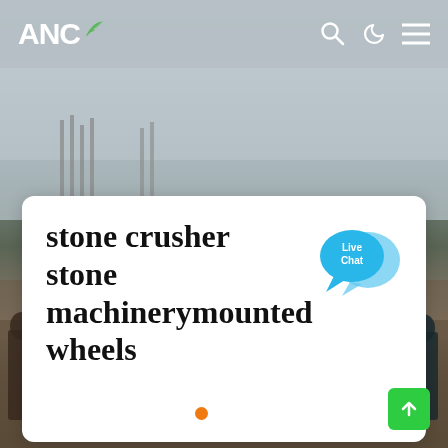ANC
[Figure (photo): Outdoor construction/mining site photo showing workers standing near a piece of machinery (stone crusher) on sandy/muddy ground, with steel rebar and overcast sky in background]
stone crusher stone machinerymounted wheels
[Figure (illustration): Live Chat speech bubble icon in blue]